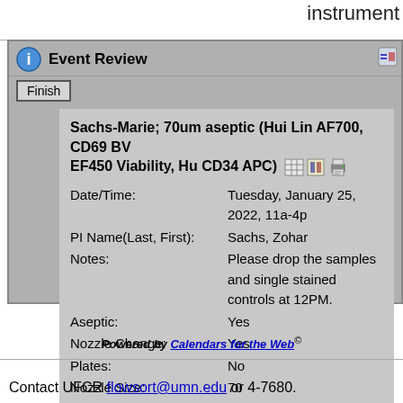instrument
Event Review
Finish
Sachs-Marie; 70um aseptic (Hui Lin AF700, CD69 BV EF450 Viability, Hu CD34 APC)
| Field | Value |
| --- | --- |
| Date/Time: | Tuesday, January 25, 2022, 11a-4p |
| PI Name(Last, First): | Sachs, Zohar |
| Notes: | Please drop the samples and single stained controls at 12PM. |
| Aseptic: | Yes |
| Nozzle Change: | Yes |
| Plates: | No |
| Nozzle Size: | 70 |
created: 1/13/2022 9:13a  by corestaff - edited: 1/13/2022 9:13a  by c
Powered by Calendars for the Web©
Contact UFCR flowsort@umn.edu or 4-7680.